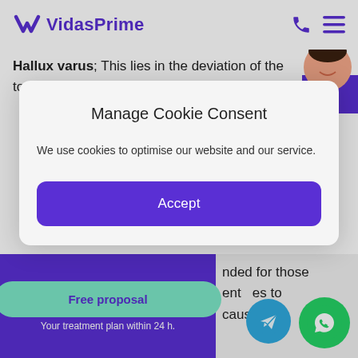VidasPrime
Hallux varus; This lies in the deviation of the toe inward.
Manage Cookie Consent
We use cookies to optimise our website and our service.
Accept
Who is this kind of treatment for?
nded for those ent es to caused by
Free proposal
Your treatment plan within 24 h.
[Figure (illustration): Telegram messenger icon button (blue circle with paper plane)]
[Figure (illustration): WhatsApp icon button (green circle with phone handset)]